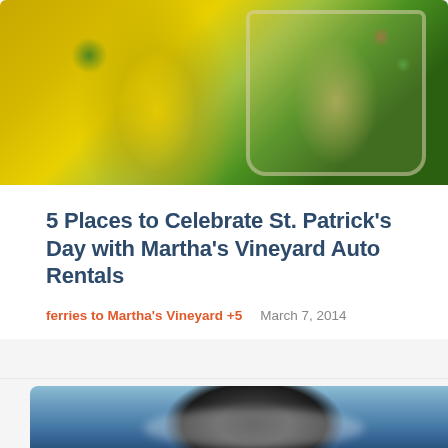[Figure (photo): Green beer mugs with festive decorations for St. Patrick's Day, yellow-green tones with shamrocks]
5 Places to Celebrate St. Patrick's Day with Martha's Vineyard Auto Rentals
ferries to Martha's Vineyard +5   March 7, 2014
[Figure (photo): Whale tail emerging from ocean water, whale watching photo with dark blue sea background]